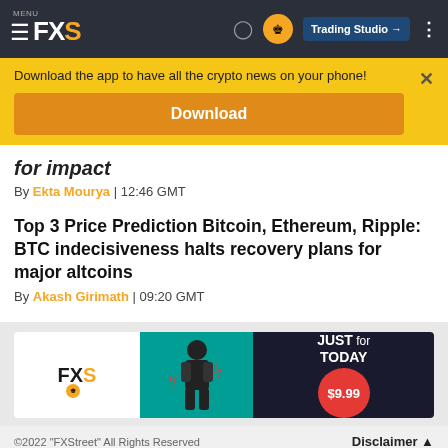[Figure (screenshot): FXStreet website navigation bar with logo FXS, clock icon, crown icon, Trading Studio button, and three-dot menu]
Download the app to have all the crypto news on your phone!
Download
for impact
By Ekta Mourya | 12:46 GMT
Top 3 Price Prediction Bitcoin, Ethereum, Ripple: BTC indecisiveness halts recovery plans for major altcoins
By Akash Girimath | 09:20 GMT
[Figure (infographic): FXStreet advertisement banner showing FXS logo with crown, person with megaphone, JUST for TODAY $9.99 promotion]
©2022 "FXStreet" All Rights Reserved    Disclaimer ▲